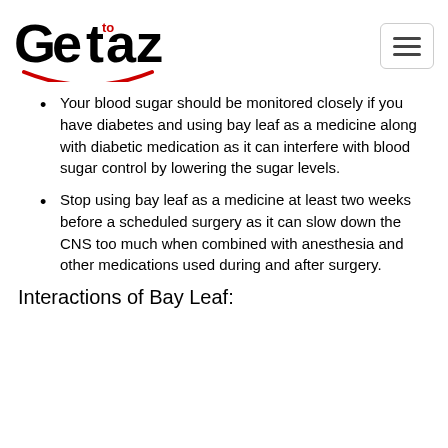Geta to z
Your blood sugar should be monitored closely if you have diabetes and using bay leaf as a medicine along with diabetic medication as it can interfere with blood sugar control by lowering the sugar levels.
Stop using bay leaf as a medicine at least two weeks before a scheduled surgery as it can slow down the CNS too much when combined with anesthesia and other medications used during and after surgery.
Interactions of Bay Leaf: